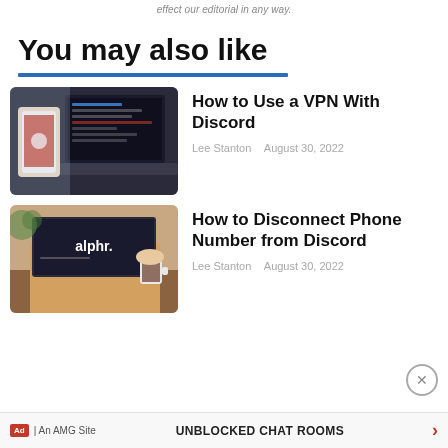effect our editorial in any way.
You may also like
[Figure (photo): Person holding phone with app open, laptop with dark code editor in background]
How to Use a VPN With Discord
Lee Stanton   August 30, 2022
[Figure (photo): Person holding coffee cup with laptop showing alphr.com website]
How to Disconnect Phone Number from Discord
Lee Stanton   August 30, 2022
UNBLOCKED CHAT ROOMS  Ad | An AMG Site